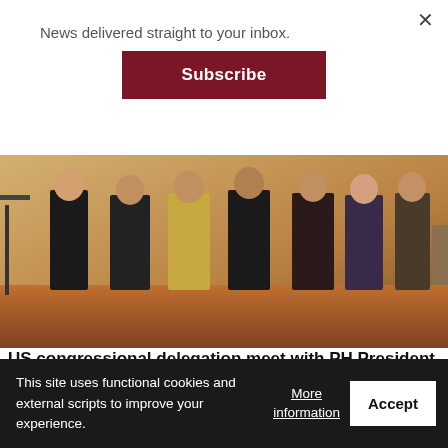News delivered straight to your inbox.
Subscribe
[Figure (photo): Group of people including officials standing together in a formal indoor setting with wooden floors]
US congressional delegation meet with PH President
[Figure (photo): Military soldiers in camouflage gear lying in dry grass/field with weapons]
This site uses functional cookies and external scripts to improve your experience.
More information
Accept